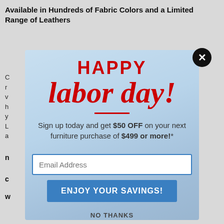Available in Hundreds of Fabric Colors and a Limited Range of Leathers
C
r
v
h
y
L
a
[Figure (screenshot): Labor Day promotional popup modal with 'HAPPY labor day!' in red text, a promotional offer to sign up and get $50 OFF on furniture purchase of $499 or more, an email address input field, an 'ENJOY YOUR SAVINGS!' button, and a 'NO THANKS' link. Background shows a cityscape with a light blue sky. A close (X) button is in the top right corner.]
Sign up today and get $50 OFF on your next furniture purchase of $499 or more!*
Email Address
ENJOY YOUR SAVINGS!
NO THANKS